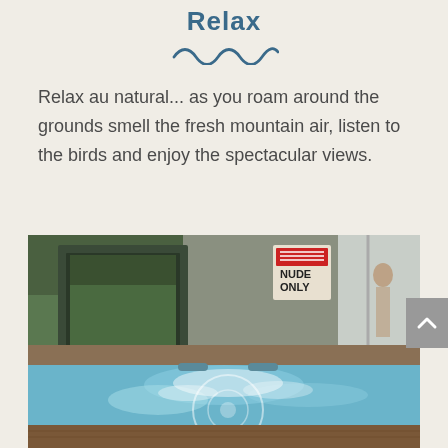Relax
[Figure (illustration): Decorative wave/squiggle line in teal/dark blue color]
Relax au natural... as you roam around the grounds smell the fresh mountain air, listen to the birds and enjoy the spectacular views.
[Figure (photo): Photo of an outdoor hot tub/jacuzzi with blue bubbling water, a 'NUDE ONLY' sign visible in the background near a building, with green trees and a white cover behind.]